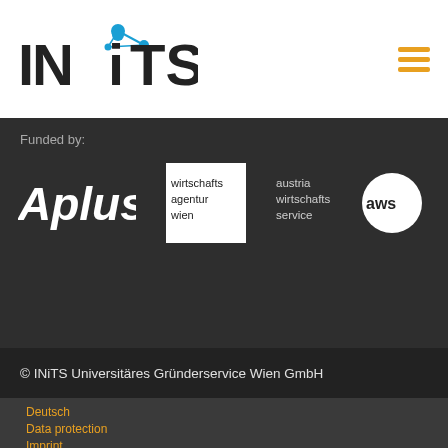[Figure (logo): INiTS logo with blue dot and network graphic]
[Figure (logo): Hamburger menu icon in orange/yellow]
Funded by:
[Figure (logo): AplusB logo in white italic text on dark background]
[Figure (logo): Wirtschaftsagentur Wien logo — black text on white square]
[Figure (logo): Austria Wirtschaftsservice (aws) logo with circular badge]
© INiTS Universitäres Gründerservice Wien GmbH
Deutsch
Data protection
Imprint